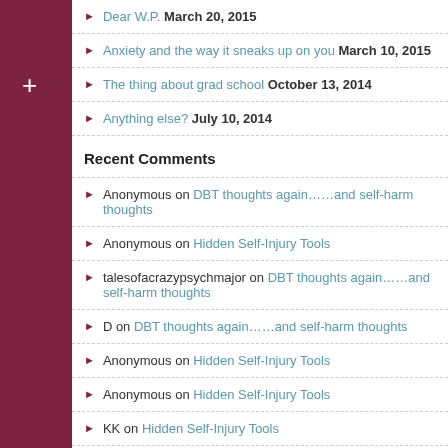Dear W.P. March 20, 2015
Anxiety and the way it sneaks up on you March 10, 2015
The thing about grad school October 13, 2014
Anything else? July 10, 2014
Recent Comments
Anonymous on DBT thoughts again……and self-harm thoughts
Anonymous on Hidden Self-Injury Tools
talesofacrazypsychmajor on DBT thoughts again……and self-harm thoughts
D on DBT thoughts again……and self-harm thoughts
Anonymous on Hidden Self-Injury Tools
Anonymous on Hidden Self-Injury Tools
KK on Hidden Self-Injury Tools